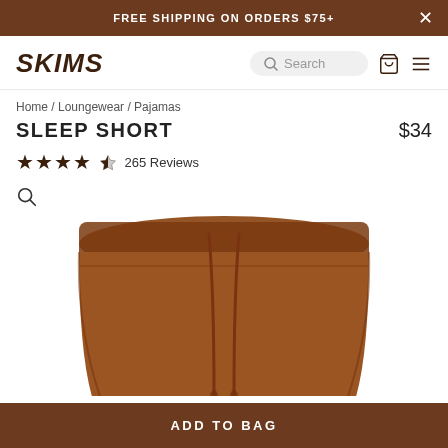FREE SHIPPING ON ORDERS $75+
[Figure (logo): SKIMS logo in dark brown bold italic text]
Home / Loungewear / Pajamas
SLEEP SHORT
$34
★★★★☆ 265 Reviews
[Figure (photo): Brown Skims sleep short product photo, showing waistband and front drawstring detail, cropped view from above waist]
ADD TO BAG